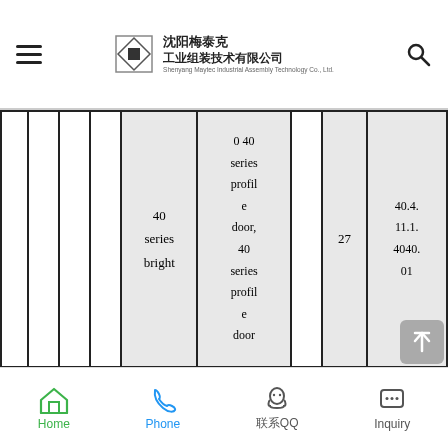沈阳梅泰克 工业组装技术有限公司 Shenyang Maytec Industrial Assembly Technology Co., Ltd.
|  |  |  |  | 40 series bright | 0 40 series profile door, 40 series profile door |  | 27 | 40.4. 11.1. 4040. 01 |
| --- | --- | --- | --- | --- | --- | --- | --- | --- |
Home  Phone  联系QQ  Inquiry